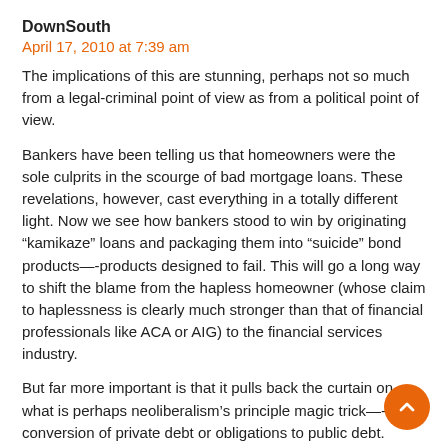DownSouth
April 17, 2010 at 7:39 am
The implications of this are stunning, perhaps not so much from a legal-criminal point of view as from a political point of view.
Bankers have been telling us that homeowners were the sole culprits in the scourge of bad mortgage loans. These revelations, however, cast everything in a totally different light. Now we see how bankers stood to win by originating “kamikaze” loans and packaging them into “suicide” bond products—-products designed to fail. This will go a long way to shift the blame from the hapless homeowner (whose claim to haplessness is clearly much stronger than that of financial professionals like ACA or AIG) to the financial services industry.
But far more important is that it pulls back the curtain on what is perhaps neoliberalism’s principle magic trick—-the conversion of private debt or obligations to public debt. Because when AIG couldn’t pay off on Goldman’s and Paulson’s shorts, Paulson and Goldman had to have their ringers inside the government—-Treasury Secretary Hery Paulson, Bernanke, Summers, Geithner, etc.—-to make that Paulson got paid his $1 billion in shorts, he along with